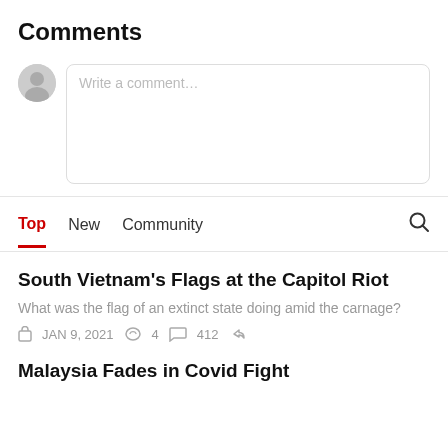Comments
Write a comment...
Top  New  Community
South Vietnam’s Flags at the Capitol Riot
What was the flag of an extinct state doing amid the carnage?
JAN 9, 2021   4   412
Malaysia Fades in Covid Fight